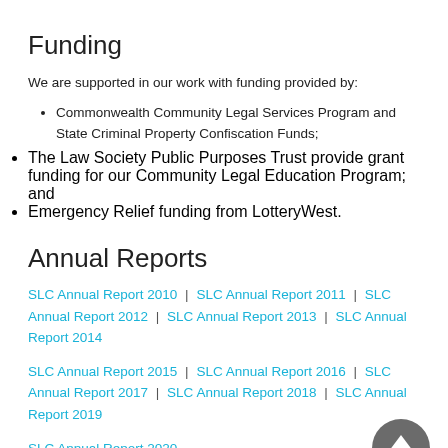Funding
We are supported in our work with funding provided by:
Commonwealth Community Legal Services Program and State Criminal Property Confiscation Funds;
The Law Society Public Purposes Trust provide grant funding for our Community Legal Education Program; and
Emergency Relief funding from LotteryWest.
Annual Reports
SLC Annual Report 2010 | SLC Annual Report 2011 | SLC Annual Report 2012 | SLC Annual Report 2013 | SLC Annual Report 2014
SLC Annual Report 2015 | SLC Annual Report 2016 | SLC Annual Report 2017 | SLC Annual Report 2018 | SLC Annual Report 2019
SLC Annual Report 2020